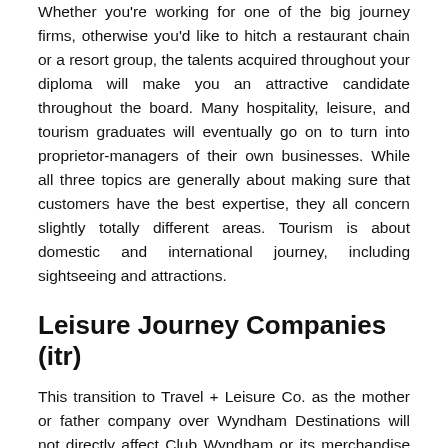Whether you're working for one of the big journey firms, otherwise you'd like to hitch a restaurant chain or a resort group, the talents acquired throughout your diploma will make you an attractive candidate throughout the board. Many hospitality, leisure, and tourism graduates will eventually go on to turn into proprietor-managers of their own businesses. While all three topics are generally about making sure that customers have the best expertise, they all concern slightly totally different areas. Tourism is about domestic and international journey, including sightseeing and attractions.
Leisure Journey Companies (itr)
This transition to Travel + Leisure Co. as the mother or father company over Wyndham Destinations will not directly affect Club Wyndham or its merchandise or membership offerings. You will proceed to enjoy your stunning timeshare properties and distinctive benefits. This information doesn't influence any